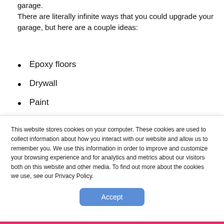garage.
There are literally infinite ways that you could upgrade your garage, but here are a couple ideas:
Epoxy floors
Drywall
Paint
Built-in storage cabinets
Built-in bar
Workout area
This website stores cookies on your computer. These cookies are used to collect information about how you interact with our website and allow us to remember you. We use this information in order to improve and customize your browsing experience and for analytics and metrics about our visitors both on this website and other media. To find out more about the cookies we use, see our Privacy Policy.